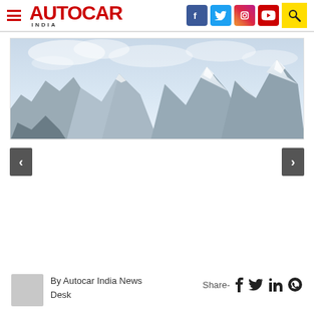AUTOCAR INDIA
[Figure (photo): Snow-capped mountain range with light blue sky and clouds, wide landscape photo used as article header image]
By Autocar India News Desk
Share- f Twitter in WhatsApp